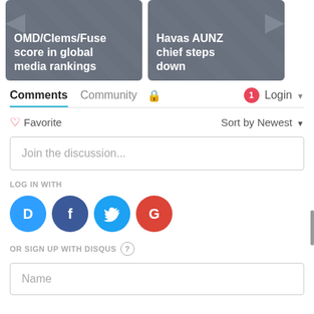[Figure (screenshot): Two article cards: left card reads 'OMD/Clems/Fuse score in global media rankings', right card reads 'Havas AUNZ chief steps down'. Both have gray crosshatch background.]
Comments  Community  🔒  1  Login ▾
♡ Favorite    Sort by Newest ▾
Join the discussion...
LOG IN WITH
[Figure (logo): Social login icons: Disqus (D, blue), Facebook (F, dark blue), Twitter (bird, light blue), Google (G, red)]
OR SIGN UP WITH DISQUS ?
Name